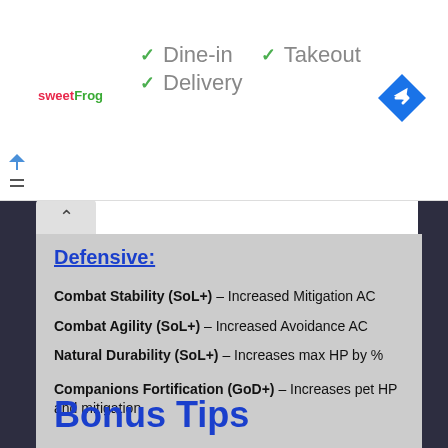[Figure (logo): sweetFrog logo in red and green text]
✓ Dine-in  ✓ Takeout
✓ Delivery
[Figure (logo): Blue diamond navigation/directions icon]
Defensive:
Combat Stability (SoL+) – Increased Mitigation AC
Combat Agility (SoL+) – Increased Avoidance AC
Natural Durability (SoL+) – Increases max HP by %
Companions Fortification (GoD+) – Increases pet HP and mitigation
Bonus Tips